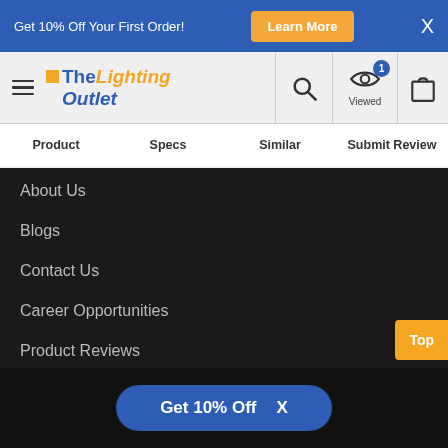Get 10% Off Your First Order! | Learn More | X
[Figure (screenshot): The Lighting Outlet logo with hamburger menu, search icon, viewed icon with badge (1), and cart icon]
Product | Specs | Similar | Submit Review
About Us
Blogs
Contact Us
Career Opportunities
Product Reviews
TLO Trade Club
Top
Get 10% Off  X